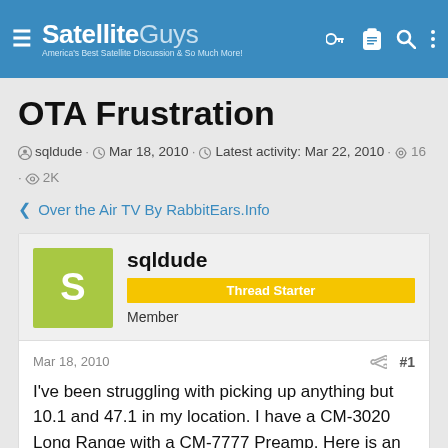SatelliteGuys — America's Best Satellite Discussion & So Much More!
OTA Frustration
sqldude · Mar 18, 2010 · Latest activity: Mar 22, 2010 · 16 · 2K
< Over the Air TV By RabbitEars.Info
sqldude
Thread Starter
Member
Mar 18, 2010  #1
I've been struggling with picking up anything but 10.1 and 47.1 in my location. I have a CM-3020 Long Range with a CM-7777 Preamp. Here is an image of the stations I should be receiving. I'm stumped!